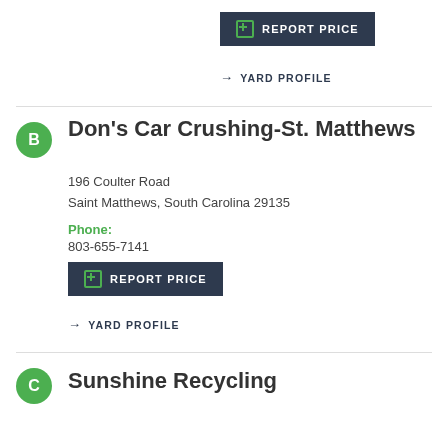REPORT PRICE
→ YARD PROFILE
Don's Car Crushing-St. Matthews
196 Coulter Road
Saint Matthews, South Carolina 29135
Phone: 803-655-7141
REPORT PRICE
→ YARD PROFILE
Sunshine Recycling